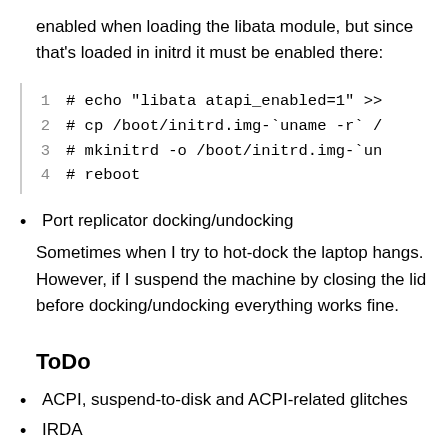enabled when loading the libata module, but since that's loaded in initrd it must be enabled there:
[Figure (screenshot): Code block with 4 lines: 1: # echo "libata atapi_enabled=1" >>  2: # cp /boot/initrd.img-`uname -r` /  3: # mkinitrd -o /boot/initrd.img-`un  4: # reboot]
Port replicator docking/undocking
Sometimes when I try to hot-dock the laptop hangs. However, if I suspend the machine by closing the lid before docking/undocking everything works fine.
ToDo
ACPI, suspend-to-disk and ACPI-related glitches
IRDA